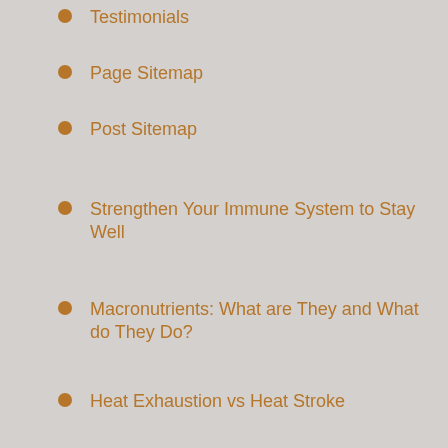Testimonials
Page Sitemap
Post Sitemap
Strengthen Your Immune System to Stay Well
Macronutrients: What are They and What do They Do?
Heat Exhaustion vs Heat Stroke